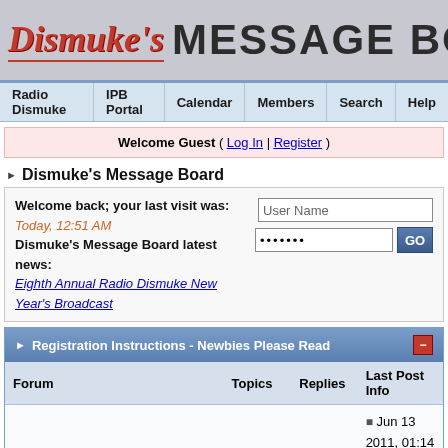[Figure (logo): Dismuke's Message Board banner with stylized red italic logo and large black bold text]
Radio Dismuke | IPB Portal | Calendar | Members | Search | Help
Welcome Guest ( Log In | Register )
Dismuke's Message Board
Welcome back; your last visit was: Today, 12:51 AM
Dismuke's Message Board latest news: Eighth Annual Radio Dismuke New Year's Broadcast
| Forum | Topics | Replies | Last Post Info |
| --- | --- | --- | --- |
| Registration Intructions - Newbies Please Read | 1 | 0 | Jun 13 2011, 01:14 AM
In: New Updated Registration Instr...
By: dismuke |